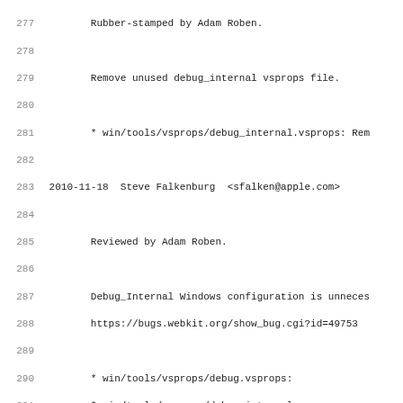Code/changelog listing lines 277-309
277     Rubber-stamped by Adam Roben.
278
279     Remove unused debug_internal vsprops file.
280
281     * win/tools/vsprops/debug_internal.vsprops: Rem
282
283 2010-11-18  Steve Falkenburg  <sfalken@apple.com>
284
285     Reviewed by Adam Roben.
286
287     Debug_Internal Windows configuration is unneces
288     https://bugs.webkit.org/show_bug.cgi?id=49753
289
290     * win/tools/vsprops/debug.vsprops:
291     * win/tools/vsprops/debug_internal.vsprops:
292
293 2010-11-17  Steve Falkenburg  <sfalken@apple.com>
294
295     Rubber-stamped by Adam Roben.
296
297     Update WebKitSystemInterfaceWin.
298
299     * win/lib/WebKitSystemInterface.lib:
300     * win/lib/WebKitSystemInterface_debug.lib:
301
302 2010-11-16  Adam Roben  <aroben@apple.com>
303
304     Ignore files from libdispatch/zlib
305
306     Rubber-stamped by Eric Seidel.
307
308     * win/include: Modified property svn:ignore.
309     * win/lib: Modified property svn:ignore.